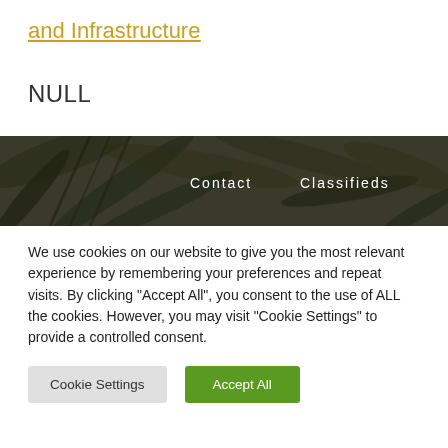and Infrastructure
NULL
[Figure (photo): Dark foliage banner image with navigation links 'Contact' and 'Classifieds' overlaid in white text]
We use cookies on our website to give you the most relevant experience by remembering your preferences and repeat visits. By clicking “Accept All”, you consent to the use of ALL the cookies. However, you may visit “Cookie Settings” to provide a controlled consent.
Cookie Settings
Accept All